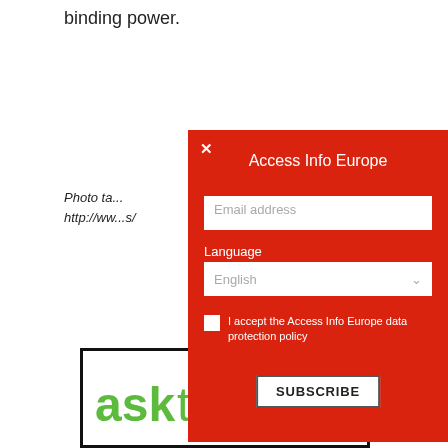binding power.
Photo ta...
http://ww...s/
[Figure (screenshot): Red modal popup for 'Access Info Europe' newsletter subscription with email field, language dropdown (English), checkbox for data protection policy acceptance, and SUBSCRIBE button]
Catego...
Select C...
[Figure (logo): asktheEU logo with green text 'askthe' and teal circular bubble containing white 'EU' text, on white background with black border]